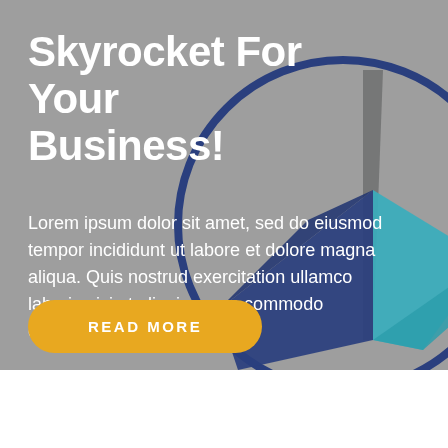Skyrocket For Your Business!
Lorem ipsum dolor sit amet, sed do eiusmod tempor incididunt ut labore et dolore magna aliqua. Quis nostrud exercitation ullamco laboris nisi ut aliquip ex ea commodo consequat.
[Figure (illustration): Circular logo icon with a compass/navigation symbol. A dark blue circle border encloses a stylized compass with dark gray vertical element, blue left arrow shape, and teal right arrow shape on a gray background.]
READ MORE